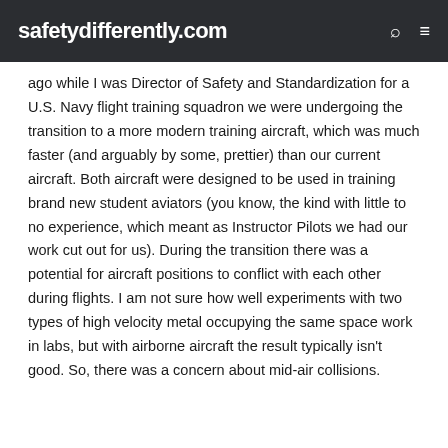safetydifferently.com
ago while I was Director of Safety and Standardization for a U.S. Navy flight training squadron we were undergoing the transition to a more modern training aircraft, which was much faster (and arguably by some, prettier) than our current aircraft. Both aircraft were designed to be used in training brand new student aviators (you know, the kind with little to no experience, which meant as Instructor Pilots we had our work cut out for us). During the transition there was a potential for aircraft positions to conflict with each other during flights. I am not sure how well experiments with two types of high velocity metal occupying the same space work in labs, but with airborne aircraft the result typically isn't good. So, there was a concern about mid-air collisions.